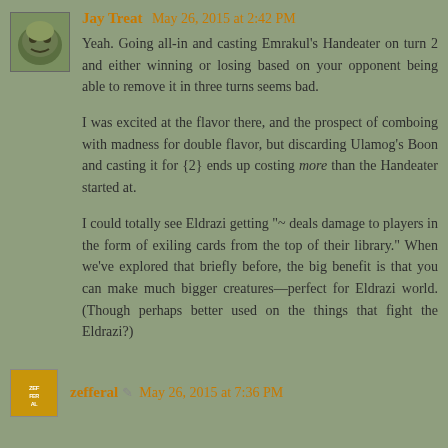[Figure (photo): Avatar/profile picture of Jay Treat, showing a stylized green creature face]
Jay Treat May 26, 2015 at 2:42 PM
Yeah. Going all-in and casting Emrakul's Handeater on turn 2 and either winning or losing based on your opponent being able to remove it in three turns seems bad.

I was excited at the flavor there, and the prospect of comboing with madness for double flavor, but discarding Ulamog's Boon and casting it for {2} ends up costing more than the Handeater started at.

I could totally see Eldrazi getting "~ deals damage to players in the form of exiling cards from the top of their library." When we've explored that briefly before, the big benefit is that you can make much bigger creatures—perfect for Eldrazi world. (Though perhaps better used on the things that fight the Eldrazi?)
[Figure (photo): Avatar/profile picture of zefferal, yellow/gold circle icon with text ZEFFERAL]
zefferal May 26, 2015 at 7:36 PM